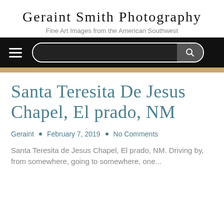Geraint Smith Photography
Fine Art Images from the American Southwest
[Figure (screenshot): Navigation bar with hamburger menu icon and search box on black background]
Santa Teresita De Jesus Chapel, El prado, NM
Geraint • February 7, 2019 • No Comments
Santa Teresita de Jesus Chapel, El prado, NM. Driving by, from somewhere, going to somewhere, one...